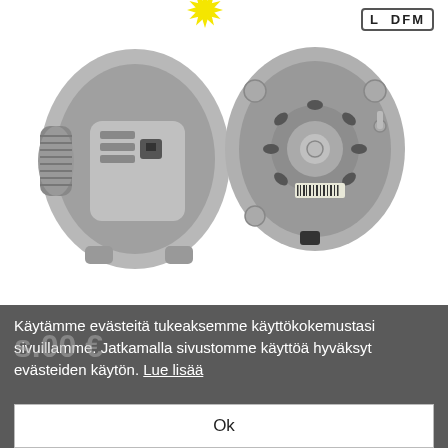[Figure (photo): Two alternator/generator parts shown front and rear views on white background. Left shows front with pulley, right shows rear view. Sunburst graphic at top center and L DFM label top right.]
[Figure (photo): Small product thumbnail image of alternator repair kit with Bosch New branding and Bosch logo text to the right.]
Käytämme evästeitä tukeaksemme käyttökokemustasi sivuillamme. Jatkamalla sivustomme käyttöä hyväksyt evästeiden käytön. Lue lisää
Ok